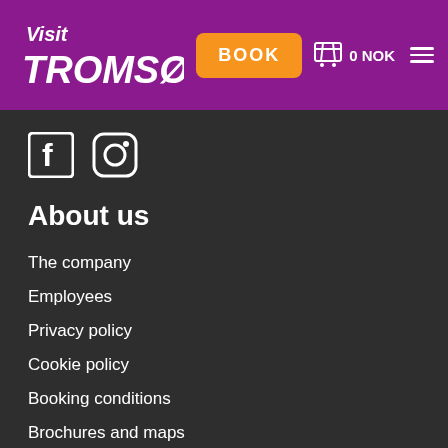Visit Tromsø! — BOOK — 0 NOK — menu
[Figure (logo): Visit Tromsø! logo in white script on purple background]
[Figure (illustration): Facebook and Instagram social media icons in white on dark background]
About us
The company
Employees
Privacy policy
Cookie policy
Booking conditions
Brochures and maps
Tromsø pass